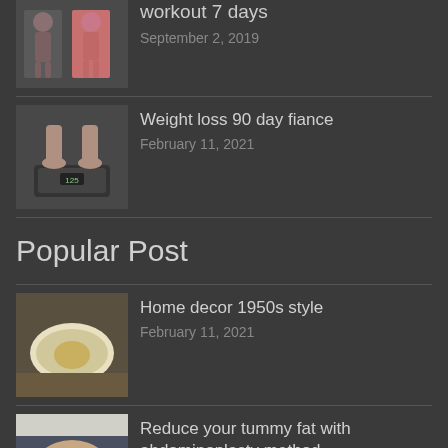[Figure (photo): Before/after body comparison photo thumbnail - workout]
workout 7 days
September 2, 2019
[Figure (photo): Person standing on a weight scale thumbnail]
Weight loss 90 day fiance
February 11, 2021
Popular Post
[Figure (photo): Home decor 1950s style plate thumbnail]
Home decor 1950s style
February 11, 2021
[Figure (photo): Abdominoplasty tummy photo with marks thumbnail]
Reduce your tummy fat with abdominoplasty method
April 22, 2018
[Figure (photo): Woman before/after tummy tuck thumbnail]
Tummy tuck before after
April 24, 2018